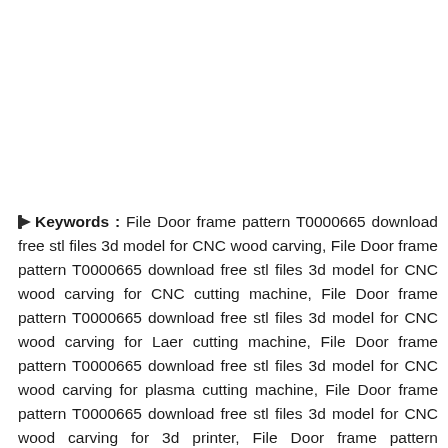Keywords : File Door frame pattern T0000665 download free stl files 3d model for CNC wood carving, File Door frame pattern T0000665 download free stl files 3d model for CNC wood carving for CNC cutting machine, File Door frame pattern T0000665 download free stl files 3d model for CNC wood carving for Laer cutting machine, File Door frame pattern T0000665 download free stl files 3d model for CNC wood carving for plasma cutting machine, File Door frame pattern T0000665 download free stl files 3d model for CNC wood carving for 3d printer, File Door frame pattern T0000665 download free stl files 3d model for CNC wood carving for cnc engraving machine, File Door frame patte